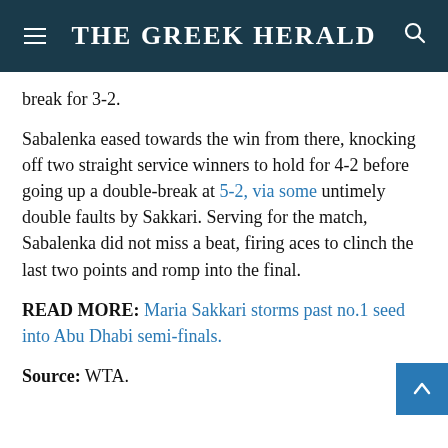THE GREEK HERALD
break for 3-2.
Sabalenka eased towards the win from there, knocking off two straight service winners to hold for 4-2 before going up a double-break at 5-2, via some untimely double faults by Sakkari. Serving for the match, Sabalenka did not miss a beat, firing aces to clinch the last two points and romp into the final.
READ MORE: Maria Sakkari storms past no.1 seed into Abu Dhabi semi-finals.
Source: WTA.